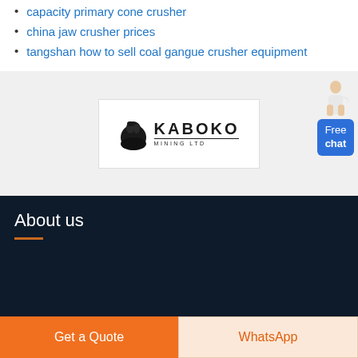capacity primary cone crusher
china jaw crusher prices
tangshan how to sell coal gangue crusher equipment
[Figure (logo): Kaboko Mining Ltd logo — black rock/gorilla silhouette with KABOKO MINING LTD text]
[Figure (illustration): Free chat widget with woman figure and blue button saying Free chat]
About us
[Figure (other): Orange horizontal rule decorative line]
Get a Quote
WhatsApp